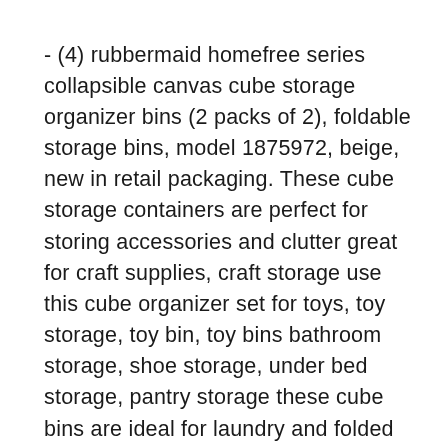- (4) rubbermaid homefree series collapsible canvas cube storage organizer bins (2 packs of 2), foldable storage bins, model 1875972, beige, new in retail packaging. These cube storage containers are perfect for storing accessories and clutter great for craft supplies, craft storage use this cube organizer set for toys, toy storage, toy bin, toy bins bathroom storage, shoe storage, under bed storage, pantry storage these cube bins are ideal for laundry and folded clothing too collapsible storage cubes fit perfectly on shelves as a shelf organizer or in closet. Each collapsible storage cube organizer has a front handle and is beige with a wavy pattern making the bin organizer, cube box set fit in with home decor the sturdy canvas of a storage bin is easy to clean no assembly required for these collapsible storage bins. Homefree series helps make the most of your space with organization bins made in china, cube storage bins